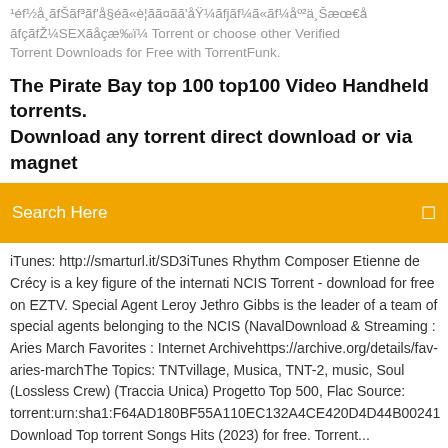¹éf½å¸ãfŠãf³ãf'å§éã«è¦ãã¤ãã'åŸ¼ãfjãf¼ã«ãf¼åº²ä¸Šæœ€å ãfçãfŽ¼SEXãåçæ‰ï¼ Torrent or choose other Verified Torrent Downloads for Free with TorrentFunk.
The Pirate Bay top 100 top100 Video Handheld torrents. Download any torrent direct download or via magnet
Search Here
iTunes: http://smarturl.it/SD3iTunes Rhythm Composer Etienne de Crécy is a key figure of the internati NCIS Torrent - download for free on EZTV. Special Agent Leroy Jethro Gibbs is the leader of a team of special agents belonging to the NCIS (NavalDownload & Streaming : Aries March Favorites : Internet Archivehttps://archive.org/details/fav-aries-marchThe Topics: TNTvillage, Musica, TNT-2, music, Soul (Lossless Crew) (Traccia Unica) Progetto Top 500, Flac Source: torrent:urn:sha1:F64AD180BF55A110EC132A4CE420D4D44B00241 Download Top torrent Songs Hits (2023) for free. Torrent...